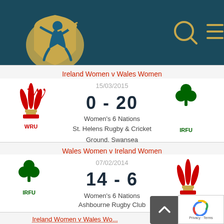[Figure (logo): Women's rugby logo - blue figure holding rugby ball on gold shield background, dark teal background header with search and menu icons]
Ireland Women v Wales Women
[Figure (logo): WRU Wales Rugby Union crest logo (red feathers) on left, IRFU Ireland Rugby Football Union shamrock logo on right]
15/03/2015
0 - 20
Women's 6 Nations
St. Helens Rugby & Cricket Ground, Swansea
Wales Women v Ireland Women
[Figure (logo): IRFU Ireland shamrock logo on left, WRU Wales feathers logo on right]
07/02/2014
14 - 6
Women's 6 Nations
Ashbourne Rugby Club
Ireland Women v Wales Wo...